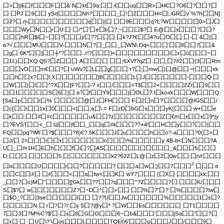囗>囗||E囗f囗囗囗F囗囗&`N囗kt囗9a:囗囗.€囗囗uq囗囗R>囗HC囗?O6囗?囗囗?囗囗 囗PJ`囗9囗囗 ySd囗囗囗囗Nh?囗囗囗囗_囗!囗2囗囗囗H=囗□GR囗v`%?h囗囗N]囗2?囗.m囗囗囗囗囗囗囗囗囗囗q囗囗||囗 囗囗9E囗囗囗q?L?W囗囗囗囗囗0>囗J囗囗囗囗Wy囗N囗囗r囗U:囗 囗/*囗'囗e囗b囗?;~囗囗囗$?囗 E@囗囗x囗囗囗?囗囗?囗囗囗hR囗$I囗~囗囗?囗囗囗j/囗??囗囗囗 囗k?J?€囗囗4?u囗O囗囗 囗-囗`&囗[囗a?√,囗囗囗MU囗囗囗V-囗囗囗N囗?囗_囗囗_囗WN\ Dq<囗囗囗'囗囗8囗囗?囗囗&囗g囗 6K*囗囗]囗囗┼*?囗囗囗.,r!?囗囗囗)<囗囗囗囗囗囗囗囗囗I囗x囗ū囗囗囗~囗囗1L)囗囗XQ Q5?囗Z囗囗囗 A囗'囗囗囗 囗囗;6XVf?qZ囗.囗囗,囗?#2囗囗(3囗囗Rm囗囗囗vO囗囗m€囗囗?囗 uWv?囗L囗囗g囗囗囗 r?囗;囗mw囗}囗@囗囗~r囗囗囗xk囗囗h囗囗x?囗囗I;X囗囗囗囗囗囗囗)B囗囗囗囗囗L囗J囗囗囗囗囗囗囗-囗囗囗Q 囗囗W囗囗}囗I囗囗^?X囗囗[F?囗囗-? x囗囗/囗囗囗=T$囗囗2+囗囗囗囗ZZr囗囗9囗囗囗囗1囗囗囗囗囗S囗6囗]囗 a?囗f囗囗Y9囗囗囗)囗OL囗?.I囗koxk囗囗囗W囗囗囗Q[Sa囗p囗囗囗r囗%`囗囗囗囗囗@囗J囗FH囗囗囗 F囗2囗n囗?'囗囗囗囗@IGS囗囗/囗c{囗囗I囗囗1x囗0囗囗囗<|囗囗,a囗\ = F囗zD囗bG囗s囗囗囗yK[囗囗囗 w+囗囗e囗k囗囗;囗囗#囗#c囗囗囗囗囗囗u&囗囗?z囗囗囗囗囗囗囗囗Z囗€m囗x囗囗x囗9*jy囗?EVST囗囗<_囗 Ш囗囗|f囗囗_囗囗q囗#k囗囗囗??+4!囗囗H囗囗y囗囗?囗囗|囗囗FQ囗囗pq?IMl`囗?$囗囗囗?8}€? 5K囗囗囗J囗u囗囗囗囗h囗囗o?-a囗囗囗?0(囗>囗囗J/囗 2=囗囗囗i囗囗x囗囗囗囗囗囗囗o囗囗囗\%囗囗囗囗囗y 4B-b<囗N囗囗囗?A U囗_囗#r1H囗E囗h囗囗囗f囗i囗?囗AS囗囗囗囗囗囗囗囗囗囗囗_&囗囗囗5囗囗囗D:囗囗囗 囗囗囗囗囗5 囗囗囗囗囗囗囗囗k2?62Z囗L@囗z囗2囗0w囗囗:囗n#囗囗囗囗is囗囗囗囗U囗囗囗囗r囗囗?囗囗囗囗囗? 囗囗囗a囗w囗;}囗囗?囗囗囗J 囗囗囗 a囗囗C囗囗#囗 囗#囗囗囗<囗囗a囗tw<囗囗K囗 wY7囗囗囗 {囗X囗 囗囗囗囗kk;囗囗_囗囗?囗o)M囗"囗囗囗囗[[Gk囗囗??囗囗?q囗囗囗^?Z囗囗囗囗?囗:囗囗囗K/囗囗囗S囗$?囗 w囗囗囗囗囗囗囗Z?囗~D囗^囗囗>囗囗 囗囗%囗?"囗?:囗%囗囗囗囗?iw囗囗$O_?囗囗|3se囗囗'囗囗囗I囗囗 囗??U囗囗Jw囗囗囗囗囗囗%囗囗囗囗囗1囗s囗?囗囗囗囗囗N 囗 r囗?囗?/:囗s S囗?@y囗* ?囗W囗囗Es囗囗囗囗囗囗 囗T1囗囗囗囗7囗囗3囗?M%C?$'囗-囗s囗8囗G囗O囗囗囗6~囗b&囗囗囗'囗囗囗jSa囗囗"囗囗?囗囗x囗 囗_囗U囗\?'\囗os囗囗囗L囗囗囗囗TQEt}6'囗囗囗p囗囗囗J囗囗/囗囗囗9囗囗?O囗囗囗7囗囗囗 囗3,囗s_ 囗}&囗囗?囗|?"囗F囗囗囗囗囗囗)4囗囗囗囗4m囗囗T囗囗囗6?囗3BL囗囗囗囗 囗囗囗$$囗 囗$?Y囗囗囗囗3\囗 Z囗?囗囗g囗囗囗C囗囗囗囗囗z囗囗囗囗4m囗囗r囗囗囗Z]{囗囗囗G囗囗)n?囗囗囗?&囗6s囗W囗囗mc~囗囗? o囗uS囗囗G?囗囗@囗囗囗.>@囗囗囗囗囗囗GX囗fD囗囗>a囗囗囗囗囗囗}囗囗囗i囗j~囗tu囗囗囗囗H囗囗囗囗